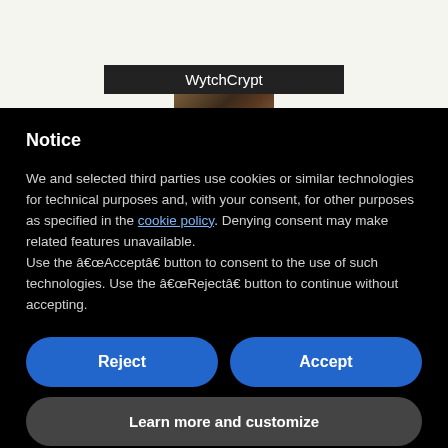[Figure (screenshot): WytchCrypt website header with dark label bar and thumbnail image]
Notice
We and selected third parties use cookies or similar technologies for technical purposes and, with your consent, for other purposes as specified in the cookie policy. Denying consent may make related features unavailable.
Use the “Accept” button to consent to the use of such technologies. Use the “Reject” button to continue without accepting.
Reject
Accept
Learn more and customize